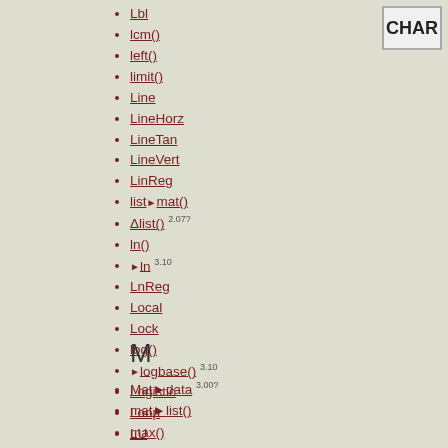CHAR
Lbl
lcm()
left()
limit()
Line
LineHorz
LineTan
LineVert
LinReg
list▶mat()
Δlist() 2.07?
ln()
▶ln 3.10
LnReg
Local
Lock
log()
▶logbase() 3.10
Logistic
Loop
LU
M
Mat▶data 3.00?
mat▶list()
max()
mean()